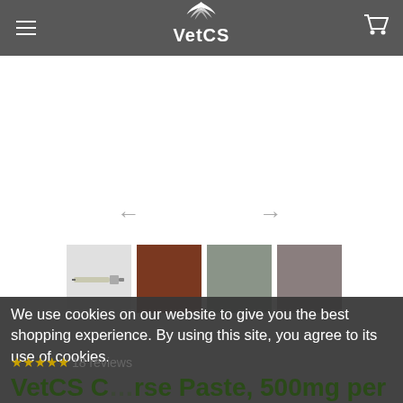VetCS
[Figure (screenshot): Product image carousel area showing navigation arrows and thumbnail images of VetCS product]
We use cookies on our website to give you the best shopping experience. By using this site, you agree to its use of cookies.
★★★★★ 18 reviews
VetCS C...rse Paste, 500mg per